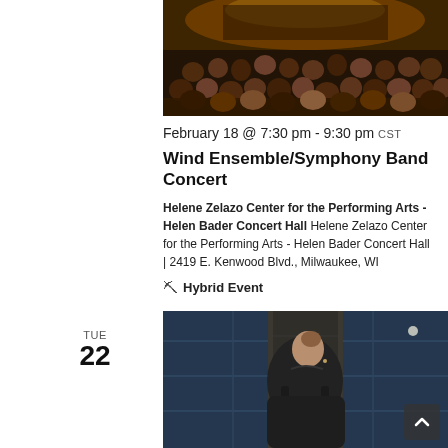[Figure (photo): Concert hall audience from behind, with orchestra on stage under warm lighting]
February 18 @ 7:30 pm - 9:30 pm CST
Wind Ensemble/Symphony Band Concert
Helene Zelazo Center for the Performing Arts - Helen Bader Concert Hall Helene Zelazo Center for the Performing Arts - Helen Bader Concert Hall | 2419 E. Kenwood Blvd., Milwaukee, WI
Hybrid Event
TUE 22
[Figure (photo): Person seen from behind looking at a modern building interior with large windows]